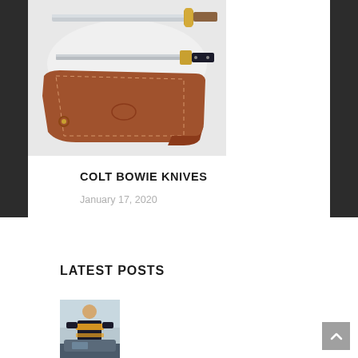[Figure (photo): Photo of Colt Bowie Knives with leather sheath, blades and handles visible on white background]
COLT BOWIE KNIVES
January 17, 2020
LATEST POSTS
[Figure (photo): Thumbnail photo of a person in a high-visibility police/traffic vest outdoors]